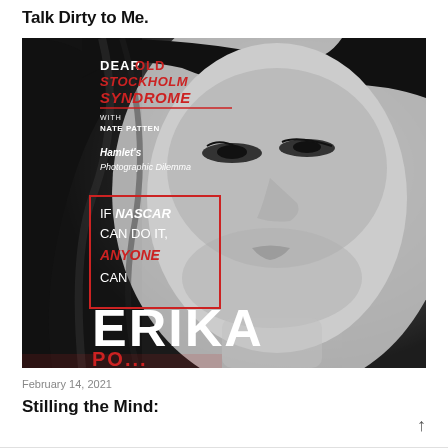Talk Dirty to Me.
[Figure (photo): Black and white magazine cover featuring a close-up of a young Asian woman's face. Text overlays include: 'DEAR OLD STOCKHOLM SYNDROME WITH NATE PATTEN', 'Hamlet's Photographic Dilemma', 'IF NASCAR CAN DO IT, ANYONE CAN' in a red box, and 'ERIKA' in large white letters at the bottom.]
February 14, 2021
Stilling the Mind: